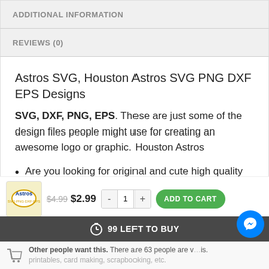ADDITIONAL INFORMATION
REVIEWS (0)
Astros SVG, Houston Astros SVG PNG DXF EPS Designs
SVG, DXF, PNG, EPS. These are just some of the design files people might use for creating an awesome logo or graphic. Houston Astros
Are you looking for original and cute high quality clip art images to use in your projects? You've
$4.99  $2.99  -  1  +  ADD TO CART
99 LEFT TO BUY
Other people want this. There are 63 people are v... is. printables, card making, scrapbooking, etc.